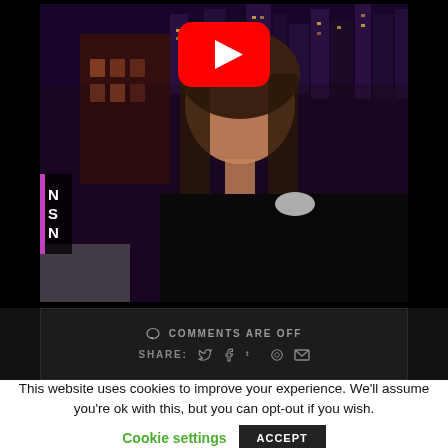[Figure (screenshot): YouTube video thumbnail showing a woman in a black halter dress on a talk show set, with a YouTube play button overlay in the upper center. NSN text label visible on lower left edge.]
COMMENTS ARE OFF
SHARE:
This website uses cookies to improve your experience. We'll assume you're ok with this, but you can opt-out if you wish.
Cookie settings
ACCEPT